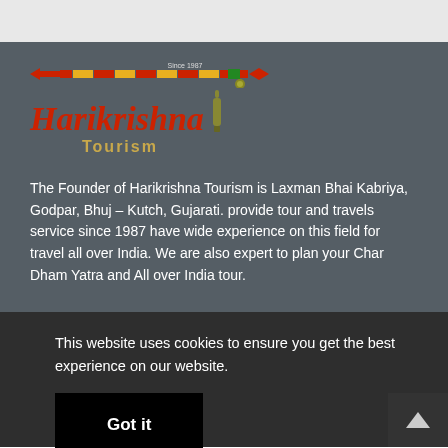[Figure (logo): Harikrishna Tourism logo with flute graphic, 'Since 1987' text, brand name in red italic serif font, and 'Tourism' in gold below]
The Founder of Harikrishna Tourism is Laxman Bhai Kabriya, Godpar, Bhuj – Kutch, Gujarati. provide tour and travels service since 1987 have wide experience on this field for travel all over India. We are also expert to plan your Char Dham Yatra and All over India tour.
This website uses cookies to ensure you get the best experience on our website.
Got it